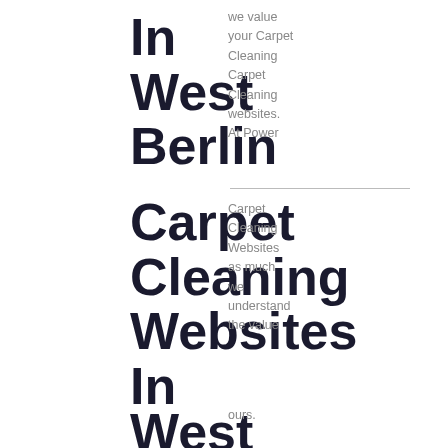In West Berlin Carpet Cleaning Websites In West Creek Carpet Cleaning Websites In West Milford Carpet Cleaning Websites
we value your Carpet Cleaning Websites. At Power Carpet Cleaning Websites as much we understand the value ours. At Power Carpet Cleaning Websites In our we understand the need Websites At Power